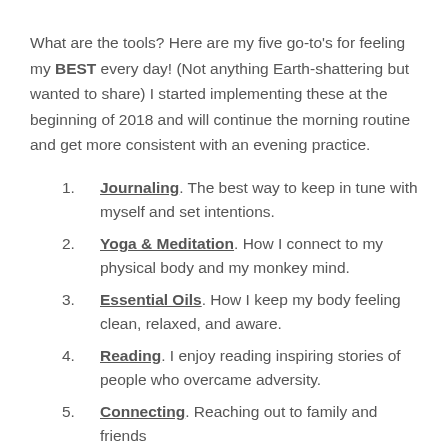What are the tools? Here are my five go-to's for feeling my BEST every day! (Not anything Earth-shattering but wanted to share) I started implementing these at the beginning of 2018 and will continue the morning routine and get more consistent with an evening practice.
Journaling. The best way to keep in tune with myself and set intentions.
Yoga & Meditation. How I connect to my physical body and my monkey mind.
Essential Oils. How I keep my body feeling clean, relaxed, and aware.
Reading. I enjoy reading inspiring stories of people who overcame adversity.
Connecting. Reaching out to family and friends